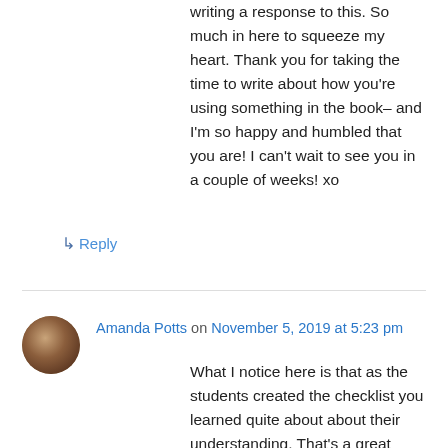writing a response to this. So much in here to squeeze my heart. Thank you for taking the time to write about how you're using something in the book– and I'm so happy and humbled that you are! I can't wait to see you in a couple of weeks! xo
↳ Reply
Amanda Potts on November 5, 2019 at 5:23 pm
What I notice here is that as the students created the checklist you learned quite about about their understanding. That's a great thing for me to remember. As a high school teacher, I don't usually pick up books for this audience, but from what you've said, Melanie's book might